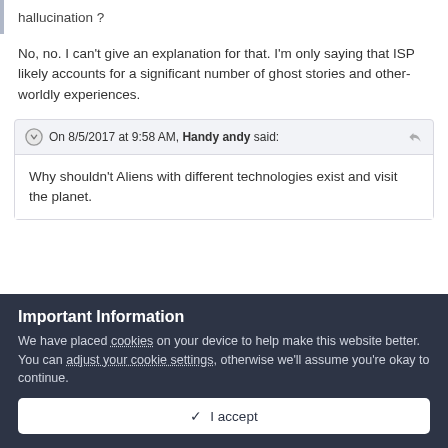hallucination ?
No, no. I can't give an explanation for that. I'm only saying that ISP likely accounts for a significant number of ghost stories and other-worldly experiences.
On 8/5/2017 at 9:58 AM, Handy andy said:
Why shouldn't Aliens with different technologies exist and visit the planet.
Important Information
We have placed cookies on your device to help make this website better. You can adjust your cookie settings, otherwise we'll assume you're okay to continue.
I accept